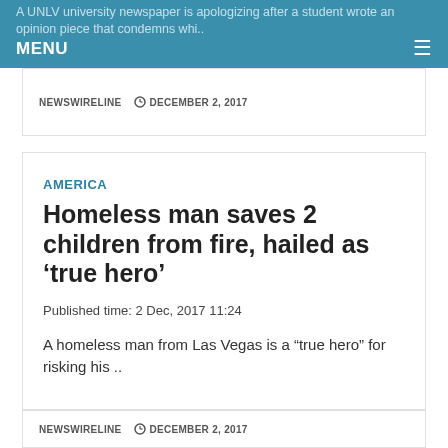MENU
A UNLV university newspaper is apologizing after a student wrote an opinion piece that condemns whi..
NEWSWIRELINE  DECEMBER 2, 2017
AMERICA
Homeless man saves 2 children from fire, hailed as ‘true hero’
Published time: 2 Dec, 2017 11:24
A homeless man from Las Vegas is a “true hero” for risking his ..
NEWSWIRELINE  DECEMBER 2, 2017